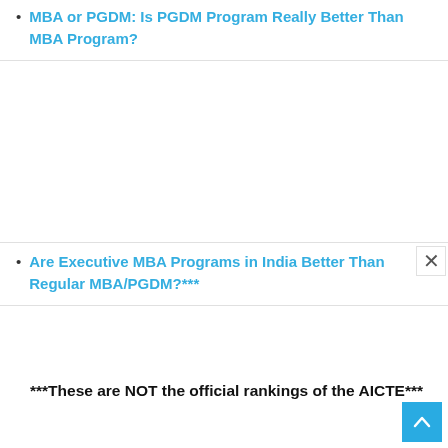MBA or PGDM: Is PGDM Program Really Better Than MBA Program?
Are Executive MBA Programs in India Better Than Regular MBA/PGDM?***
***These are NOT the official rankings of the AICTE***